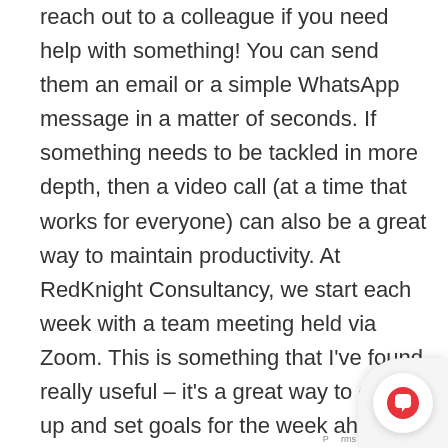reach out to a colleague if you need help with something! You can send them an email or a simple WhatsApp message in a matter of seconds. If something needs to be tackled in more depth, then a video call (at a time that works for everyone) can also be a great way to maintain productivity. At RedKnight Consultancy, we start each week with a team meeting held via Zoom. This is something that I've found really useful – it's a great way to catch up and set goals for the week ahead.
2. Be proactive
Remote working provides great opportunities to be proactive – a moment of inspiration can be developed into a fully-fledged idea and